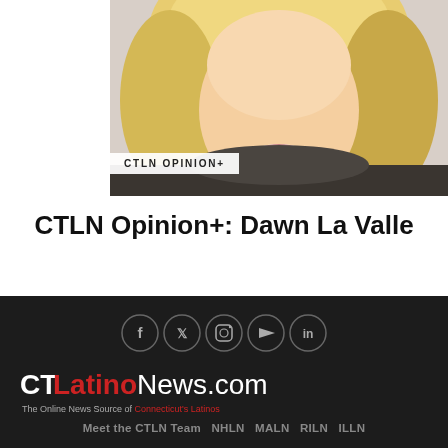[Figure (photo): Headshot of a blonde woman smiling, cropped to show face and shoulders]
CTLN OPINION+
CTLN Opinion+: Dawn La Valle
[Figure (logo): CTLatinoNews.com logo with small icon below]
BUSINESS
CTLN Celebrates 10 Years Serving Connecticut Latinos
[Figure (infographic): Social media icons row: Facebook, Twitter, Instagram, YouTube, LinkedIn — circles on dark background]
[Figure (logo): CTLatinoNews.com footer logo in white and red]
The Online News Source of Connecticut's Latinos
Meet the CTLN Team   NHLN   MALN   RILN   ILLN